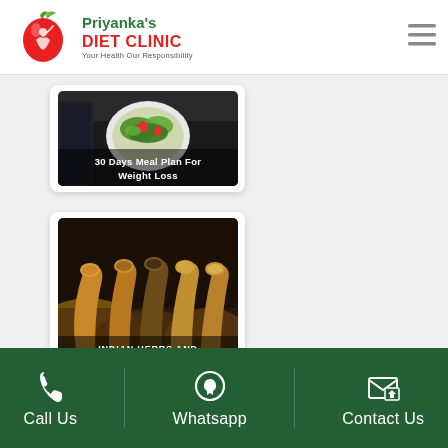[Figure (logo): Priyanka's Diet Clinic logo with red apple and silhouette, green text branding]
[Figure (photo): Card with salad bowl photo and overlay text: 30 Days Meal Plan For Weight Loss]
[Figure (photo): Card with Indian spices and herbs photo and overlay text: INDIAN HERBS AND SPICE THAT CAN IMPROVE YOUR HEALTH]
Call Us  Whatsapp  Contact Us